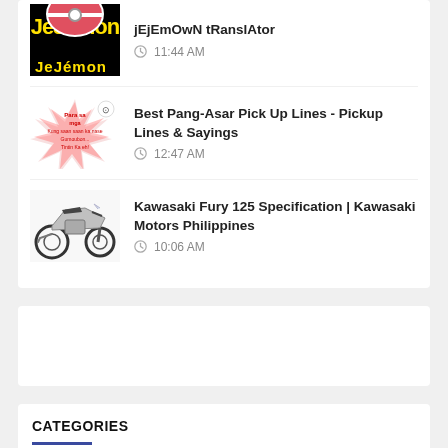Jejemon Translator - jEjEmOwN tRanslAtor
11:44 AM
Best Pang-Asar Pick Up Lines - Pickup Lines & Sayings
12:47 AM
Kawasaki Fury 125 Specification | Kawasaki Motors Philippines
10:06 AM
CATEGORIES
Announcement (5...)